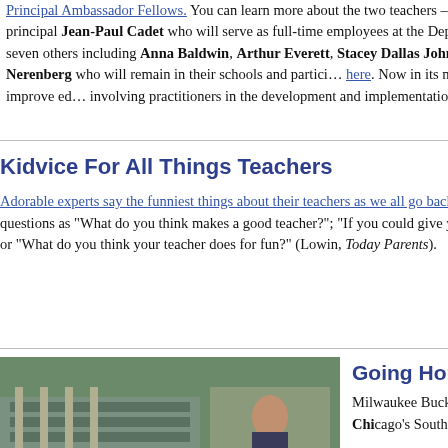Principal Ambassador Fellows. You can learn more about the two teachers – Patrick Kelly and Amanda Barney, and one principal Jean-Paul Cadet who will serve as full-time employees at the Department's headquarters in Washington, D.C., and seven others including Anna Baldwin, Arthur Everett, Stacey Dallas Johnston, Sean McComb, McKnight and Dana Nerenberg who will remain in their schools and participate here. Now in its ninth year, the Fellowship program is designed to improve education by involving practitioners in the development and implementation of national education policy.
[Figure (photo): Photo of a person, partially visible on the right side]
Kidvice For All Things Teachers
Adorable experts say the funniest things about their teachers as we all go back to school. Watch their answers to such questions as "What do you think makes a good teacher?"; "If you could give your teacher a gift, what would it be?"; or "What do you think your teacher does for fun?" (Lowin, Today Parents).
[Figure (photo): Photo partially visible on the right side of the Kidvice section]
[Figure (photo): Photo of a building and a person on the left side of the bottom section]
Going Home, Giving Back
Milwaukee Bucks Forward Jabari ... Chicago's South Side from its beginning...